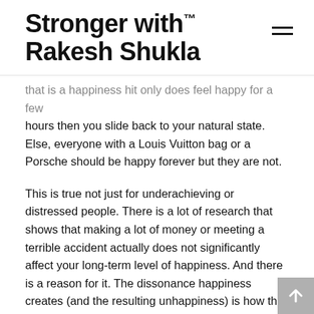Stronger with™ Rakesh Shukla
that is a happiness hit only does feel happy for a few hours then you slide back to your natural state. Else, everyone with a Louis Vuitton bag or a Porsche should be happy forever but they are not.
This is true not just for underachieving or distressed people. There is a lot of research that shows that making a lot of money or meeting a terrible accident actually does not significantly affect your long-term level of happiness. And there is a reason for it. The dissonance happiness creates (and the resulting unhappiness) is how the human brains start chasing the next thing. While we do not think of it like that, it is a survival skill.